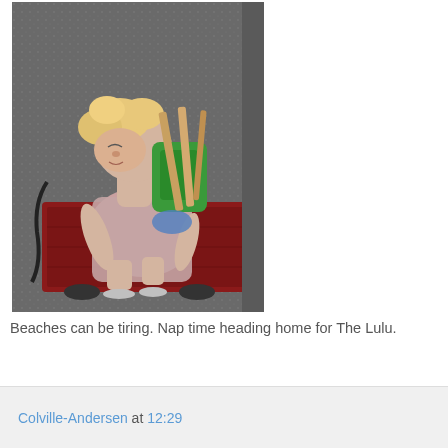[Figure (photo): A young blonde child sleeping/napping in what appears to be a red wagon or cart, outdoors on pavement. The child is wearing a floral dress and silver sandals, leaning back with a green backpack and beach items around her.]
Beaches can be tiring. Nap time heading home for The Lulu.
Colville-Andersen at 12:29